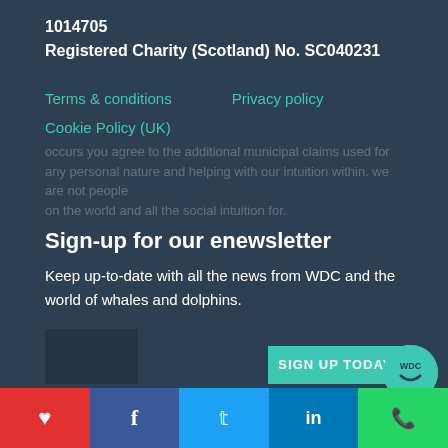1014705
Registered Charity (Scotland) No. SC040231
Terms & conditions
Privacy policy
Cookie Policy (UK)
Sign-up for our enewsletter
Keep up-to-date with all the news from WDC and the world of whales and dolphins.
SIGN UP TODAY
Heart | Facebook | Twitter | LinkedIn | WhatsApp